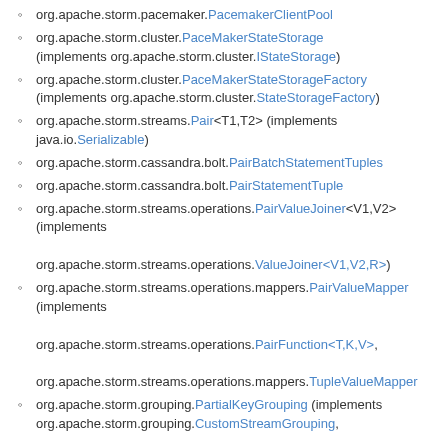org.apache.storm.pacemaker.PacemakerClientPool
org.apache.storm.cluster.PaceMakerStateStorage (implements org.apache.storm.cluster.IStateStorage)
org.apache.storm.cluster.PaceMakerStateStorageFactory (implements org.apache.storm.cluster.StateStorageFactory)
org.apache.storm.streams.Pair<T1,T2> (implements java.io.Serializable)
org.apache.storm.cassandra.bolt.PairBatchStatementTuples
org.apache.storm.cassandra.bolt.PairStatementTuple
org.apache.storm.streams.operations.PairValueJoiner<V1,V2> (implements org.apache.storm.streams.operations.ValueJoiner<V1,V2,R>)
org.apache.storm.streams.operations.mappers.PairValueMapper (implements org.apache.storm.streams.operations.PairFunction<T,K,V>, org.apache.storm.streams.operations.mappers.TupleValueMapper)
org.apache.storm.grouping.PartialKeyGrouping (implements org.apache.storm.grouping.CustomStreamGrouping, java.io.Serializable)
org.apache.storm.grouping.PartialKeyGrouping.BalancedTargetS (implements org.apache.storm.grouping.PartialKeyGrouping.TargetSelector)
org.apache.storm.grouping.PartialKeyGrouping.RandomTwoTask (implements org.apache.storm.grouping.PartialKeyGrouping.AssignmentCrea)
org.apache.storm.eventhubs.trident.Partition (implements org.apache.storm.trident.spout.ISpoutPartition, java.io.Serializable)
org.apache.storm.trident.spout.PartitionedTridentSpoutExecutor (implements org.apache.storm.trident.spout.ITridentSpout<T>)
org.apache.storm.trident.planner.processor.PartitionPersistProce